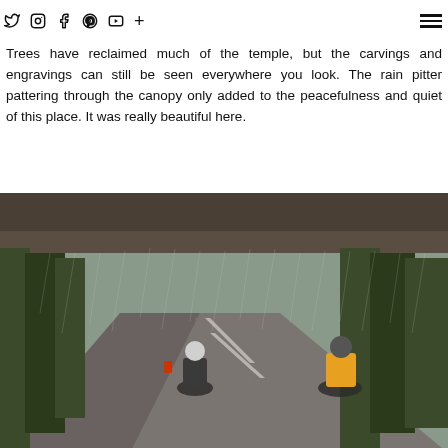Social nav icons and hamburger menu
Trees have reclaimed much of the temple, but the carvings and engravings can still be seen everywhere you look. The rain pitter pattering through the canopy only added to the peacefulness and quiet of this place. It was really beautiful here.
[Figure (photo): Two motorcyclists riding on a wet road in heavy rain, trees lining both sides of the road, view from under a bridge or overpass overhead]
[Figure (photo): Rainy forest scene with tall trees and misty atmosphere, partially visible at bottom of page]